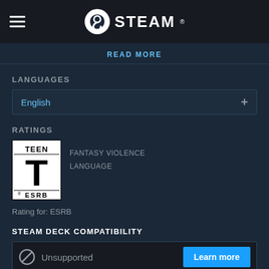[Figure (logo): Steam app header bar with hamburger menu icon on left and Steam logo (white circle icon with Steam wordmark) in center on dark background]
READ MORE
LANGUAGES
English
RATINGS
[Figure (logo): ESRB Teen rating badge — white box with 'TEEN' at top, large bold T in center, 'ESRB' at bottom with registered trademark symbol]
FANTASY VIOLENCE
LANGUAGE
Rating for: ESRB
STEAM DECK COMPATIBILITY
Unsupported
Learn more